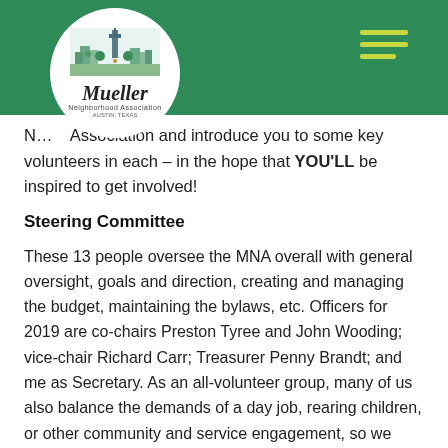[Figure (logo): Mueller Neighborhood Association circular logo with city skyline illustration and stylized script text]
Neighborhood Association and introduce you to some key volunteers in each – in the hope that YOU'LL be inspired to get involved!
Steering Committee
These 13 people oversee the MNA overall with general oversight, goals and direction, creating and managing the budget, maintaining the bylaws, etc. Officers for 2019 are co-chairs Preston Tyree and John Wooding; vice-chair Richard Carr; Treasurer Penny Brandt; and me as Secretary. As an all-volunteer group, many of us also balance the demands of a day job, rearing children, or other community and service engagement, so we count on the engagement of neighbors in each specific committee to bring the MNA vision to life and to add their own creative vision and passion.